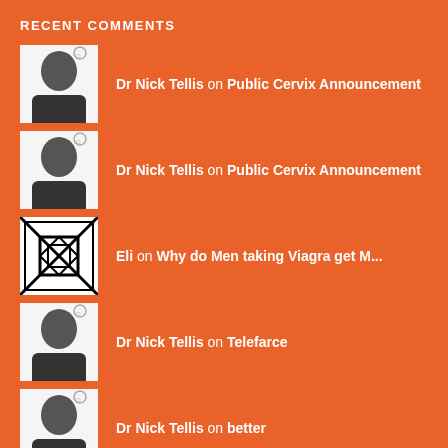RECENT COMMENTS
Dr Nick Tellis on Public Cervix Announcement
Dr Nick Tellis on Public Cervix Announcement
Eli on Why do Men taking Viagra get M...
Dr Nick Tellis on Telefarce
Dr Nick Tellis on better
ARCHIVES
November 2021